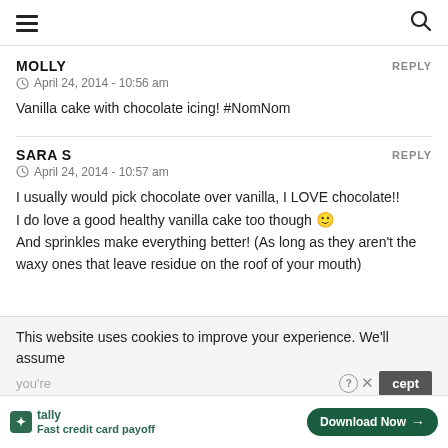≡ [hamburger menu] [search icon]
MOLLY
REPLY
April 24, 2014 - 10:56 am
Vanilla cake with chocolate icing! #NomNom
SARA S
REPLY
April 24, 2014 - 10:57 am
I usually would pick chocolate over vanilla, I LOVE chocolate!!
I do love a good healthy vanilla cake too though 🙂
And sprinkles make everything better! (As long as they aren't the waxy ones that leave residue on the roof of your mouth)
This website uses cookies to improve your experience. We'll assume you're
[Figure (screenshot): Tally app advertisement banner at the bottom: Tally logo, 'Fast credit card payoff' text, Download Now button, help and close icons]